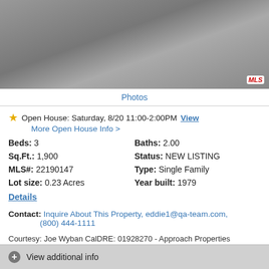[Figure (photo): Aerial or outdoor property photo with MLS logo watermark in bottom right]
Photos
★ Open House: Saturday, 8/20 11:00-2:00PM View
More Open House Info >
Beds: 3
Baths: 2.00
Sq.Ft.: 1,900
Status: NEW LISTING
MLS#: 22190147
Type: Single Family
Lot size: 0.23 Acres
Year built: 1979
Details
Contact: Inquire About This Property, eddie1@qa-team.com, (800) 444-1111
Courtesy: Joe Wyban CalDRE: 01928270 - Approach Properties Premium Real Estate Joe Wyban CalDRE: 01928270
Request Info  Save Property
View additional info